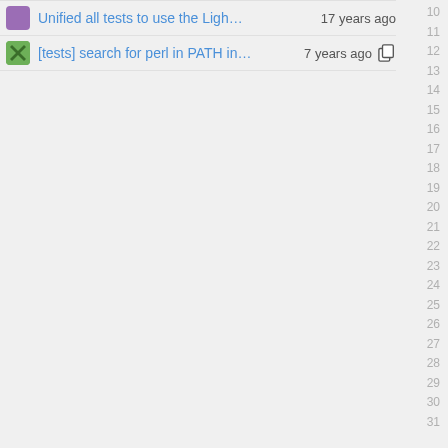Unified all tests to use the Ligh... 17 years ago  10
[tests] search for perl in PATH in... 7 years ago  11
12 13 14 15 16 17 18 19 20 21 22 23 24 25 26 27 28 29 30 31